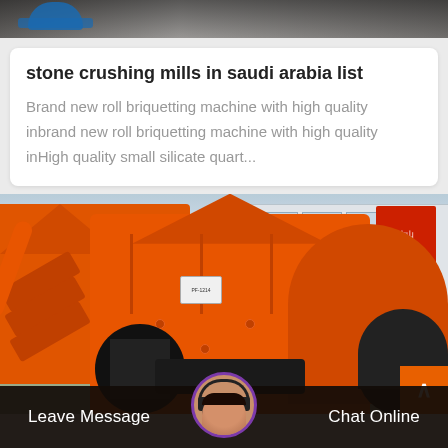[Figure (photo): Top partial photo strip, dark gray/blue background, appears to be industrial scene]
stone crushing mills in saudi arabia list
Brand new roll briquetting machine with high quality inbrand new roll briquetting machine with high quality inHigh quality small silicate quart…
[Figure (photo): Large orange industrial stone crushing machines/hammer mills parked outdoors in front of a building with windows. A red signboard is visible. Coal or ore pile in the background right.]
Leave Message   Chat Online